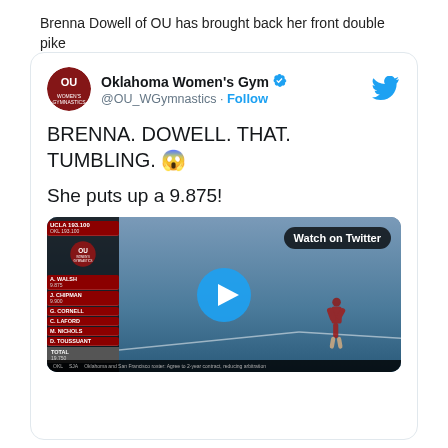Brenna Dowell of OU has brought back her front double pike
[Figure (screenshot): Tweet from Oklahoma Women's Gym (@OU_WGymnastics) with verified badge and Follow button. Tweet text: 'BRENNA. DOWELL. THAT. TUMBLING. 😱 She puts up a 9.875!' with an embedded video thumbnail showing a gymnast on floor exercise with a scoreboard panel on the left and a 'Watch on Twitter' badge.]